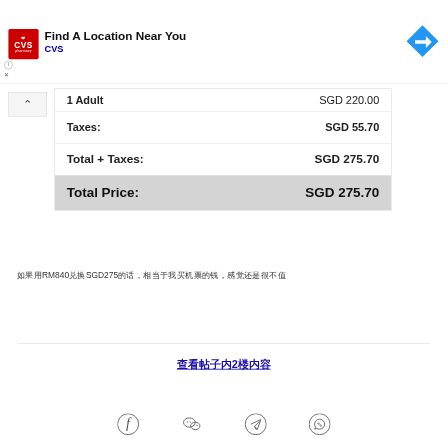[Figure (screenshot): CVS Pharmacy advertisement banner with logo, 'Find A Location Near You' text, and a blue map direction arrow icon]
| 1 Adult | SGD 220.00 |
| Taxes: | SGD 55.70 |
| Total + Taxes: | SGD 275.70 |
| Total Price: | SGD 275.70 |
如果用RM840兑换SGD275的话，相当于我买机票的钱，感觉还是很不值
查看帖子内2楼内容
[Figure (infographic): Social media sharing icons: Facebook, WeChat, Telegram, WhatsApp]